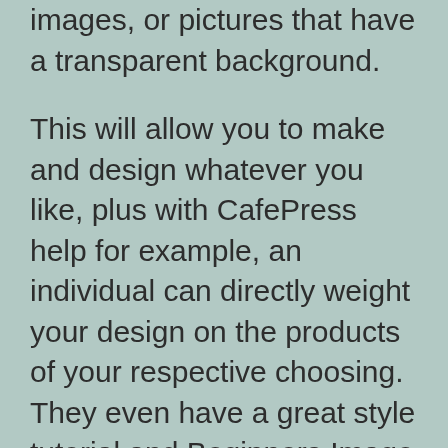images, or pictures that have a transparent background.
This will allow you to make and design whatever you like, plus with CafePress help for example, an individual can directly weight your design on the products of your respective choosing. They even have a great style tutorial and Beginners Image Workshop that will explains the right way to style for their products. They will will take a person step by step learning how to create and design your pictures to put in clothing and object. Starting with a third party website is perfect for low